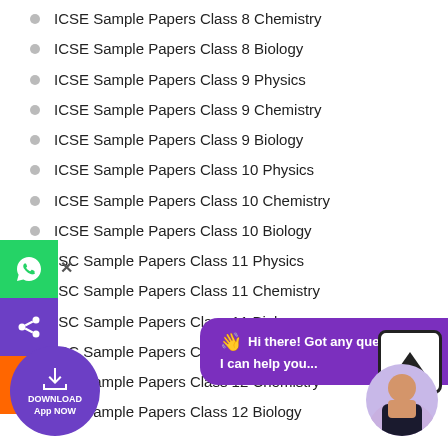ICSE Sample Papers Class 8 Chemistry
ICSE Sample Papers Class 8 Biology
ICSE Sample Papers Class 9 Physics
ICSE Sample Papers Class 9 Chemistry
ICSE Sample Papers Class 9 Biology
ICSE Sample Papers Class 10 Physics
ICSE Sample Papers Class 10 Chemistry
ICSE Sample Papers Class 10 Biology
ISC Sample Papers Class 11 Physics
ISC Sample Papers Class 11 Chemistry
ISC Sample Papers Class 11 Biology
ISC Sample Papers Class 12 Physics
ISC Sample Papers Class 12 Chemistry
ISC Sample Papers Class 12 Biology